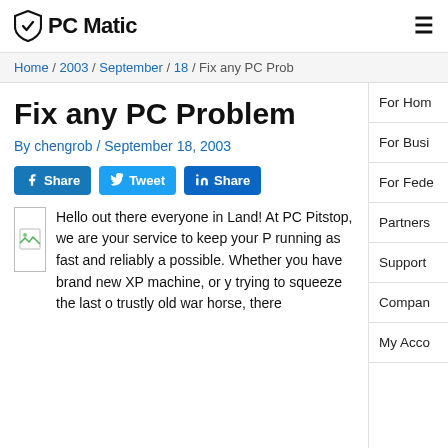PC Matic
Home / 2003 / September / 18 / Fix any PC Prob
Fix any PC Problem
By chengrob / September 18, 2003
[Figure (other): Social share buttons: Facebook Share, Twitter Tweet, LinkedIn Share]
[Figure (photo): Small image placeholder with a broken image icon]
Hello out there everyone in Land! At PC Pitstop, we are your service to keep your P running as fast and reliably a possible. Whether you have brand new XP machine, or y trying to squeeze the last o trustly old war horse, there
For Hom
For Busi
For Fede
Partners
Support
Compan
My Acco